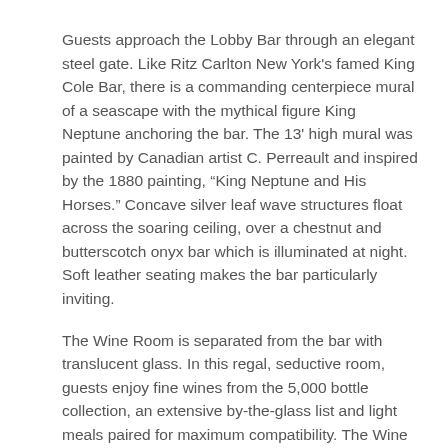Guests approach the Lobby Bar through an elegant steel gate. Like Ritz Carlton New York's famed King Cole Bar, there is a commanding centerpiece mural of a seascape with the mythical figure King Neptune anchoring the bar. The 13' high mural was painted by Canadian artist C. Perreault and inspired by the 1880 painting, “King Neptune and His Horses.” Concave silver leaf wave structures float across the soaring ceiling, over a chestnut and butterscotch onyx bar which is illuminated at night. Soft leather seating makes the bar particularly inviting.
The Wine Room is separated from the bar with translucent glass. In this regal, seductive room, guests enjoy fine wines from the 5,000 bottle collection, an extensive by-the-glass list and light meals paired for maximum compatibility. The Wine Room's separate cellar area can also be reserved...